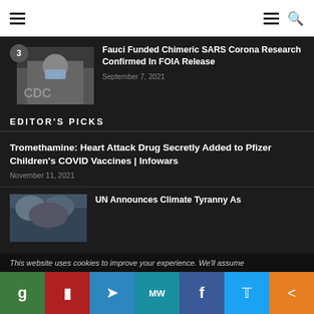Navigation header with hamburger menu and search icon
[Figure (photo): Thumbnail of person wearing mask in front of CDC logo]
Fauci Funded Chimeric SARS Corona Research Confirmed In FOIA Release
September 7, 2021
EDITOR'S PICKS
Tromethamine: Heart Attack Drug Secretly Added to Pfizer Children's COVID Vaccines | Infowars
November 11, 2021
[Figure (photo): Thumbnail image for UN climate article]
UN Announces Climate Tyranny As
This website uses cookies to improve your experience. We'll assume
Social share bar: G, P, Telegram, MW, Facebook, Twitter, Share